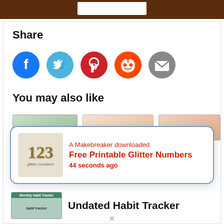Share
[Figure (infographic): Social sharing icons: Facebook (blue), Twitter (light blue), Pinterest (red), Reddit (orange), Email (gray)]
You may also like
[Figure (screenshot): Notification popup: A Makebreaker downloaded Free Printable Glitter Numbers 44 seconds ago, with 123 glitter numbers thumbnail]
Undated Habit Tracker